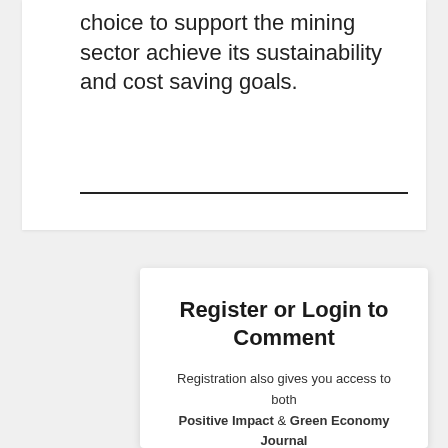choice to support the mining sector achieve its sustainability and cost saving goals.
Register or Login to Comment
Registration also gives you access to both Positive Impact & Green Economy Journal Digital Magazines and Newsletters